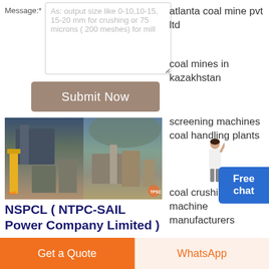Message:*
As: output size like 0-10,10-15, 15-20 mm for crushing or 75 microns ( 200 meshes) for mill
Submit Now
[Figure (photo): Industrial coal crushing/screening facility with machinery and yellow crane structure on left, open-air mining plant on right. Watermarks visible.]
NSPCL ( NTPC-SAIL Power Company Limited )
atlanta coal mine pvt ltd
coal mines in kazakhstan
screening machines coal handling plants
coal crushing machine manufacturers
coal minning equipment
Free chat
Get a Quote
WhatsApp